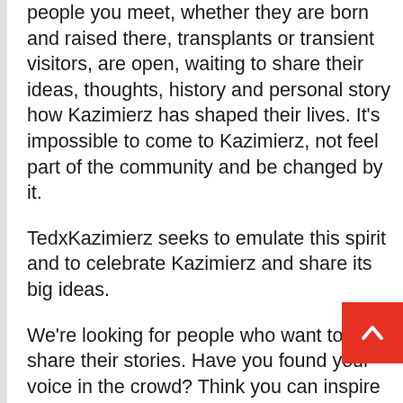people you meet, whether they are born and raised there, transplants or transient visitors, are open, waiting to share their ideas, thoughts, history and personal story how Kazimierz has shaped their lives. It's impossible to come to Kazimierz, not feel part of the community and be changed by it.
TedxKazimierz seeks to emulate this spirit and to celebrate Kazimierz and share its big ideas.
We're looking for people who want to share their stories. Have you found your voice in the crowd? Think you can inspire young and old alike? Do you know of someone who's doing amazing inspiring things that should be shared with the world – Like Dylan? Go to
[Figure (other): Red scroll-to-top button with upward chevron arrow]